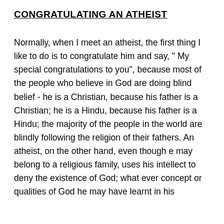CONGRATULATING AN ATHEIST
Normally, when I meet an atheist, the first thing I like to do is to congratulate him and say, " My special congratulations to you", because most of the people who believe in God are doing blind belief - he is a Christian, because his father is a Christian; he is a Hindu, because his father is a Hindu; the majority of the people in the world are blindly following the religion of their fathers. An atheist, on the other hand, even though e may belong to a religious family, uses his intellect to deny the existence of God; what ever concept or qualities of God he may have learnt in his